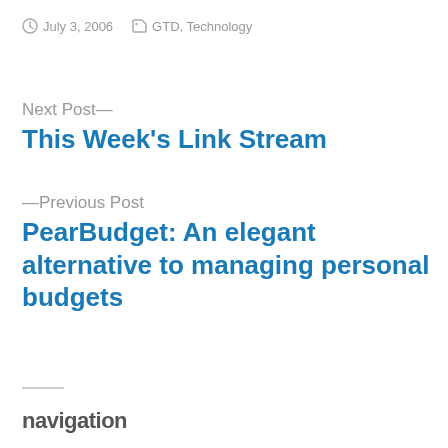July 3, 2006   GTD, Technology
Next Post—
This Week's Link Stream
—Previous Post
PearBudget: An elegant alternative to managing personal budgets